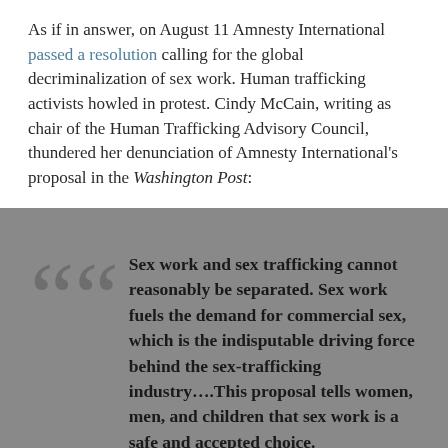As if in answer, on August 11 Amnesty International passed a resolution calling for the global decriminalization of sex work. Human trafficking activists howled in protest. Cindy McCain, writing as chair of the Human Trafficking Advisory Council, thundered her denunciation of Amnesty International's proposal in the Washington Post:
Sex work and sex trafficking cannot reasonably be separated. Sex work fuels the demand for commercial sex, which is the indisputable driving force behind the sex-trafficking industry....This proposal tells women, men, and children that sex work is a safe and accepted choice.